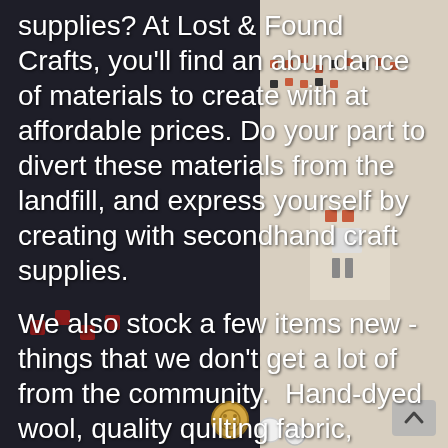[Figure (photo): Dark background photo of craft supplies including cross-stitch fabric with colorful embroidery patterns, buttons, and other craft materials]
supplies? At Lost & Found Crafts, you'll find an abundance of materials to create with at affordable prices. Do your part to divert these materials from the landfill, and express yourself by creating with secondhand craft supplies.
We also stock a few items new - things that we don't get a lot of from the community.  Hand-dyed wool, quality quilting fabric, adhesives.